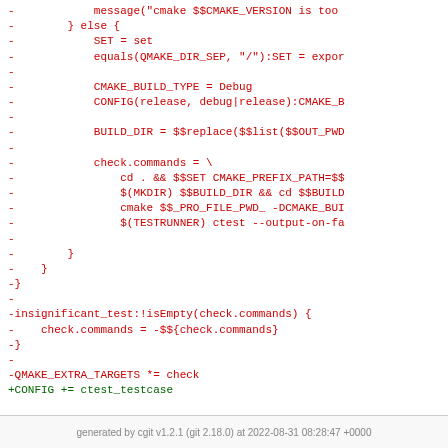Code diff showing cmake/qmake build configuration changes and test target modifications
generated by cgit v1.2.1 (git 2.18.0) at 2022-08-31 08:28:47 +0000